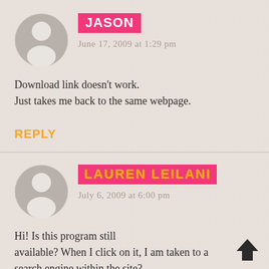[Figure (illustration): Gray circular avatar placeholder with white silhouette figure, first comment (Jason)]
JASON
June 17, 2009 at 1:29 pm
Download link doesn't work. Just takes me back to the same webpage.
REPLY
[Figure (illustration): Gray circular avatar placeholder with white silhouette figure, second comment (Lauren Leilani)]
LAUREN LEILANI
July 6, 2009 at 6:00 pm
Hi! Is this program still available? When I click on it, I am taken to a search engine within the site?